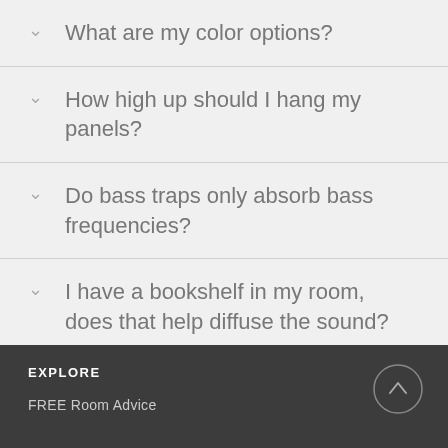What are my color options?
How high up should I hang my panels?
Do bass traps only absorb bass frequencies?
I have a bookshelf in my room, does that help diffuse the sound?
EXPLORE
FREE Room Advice